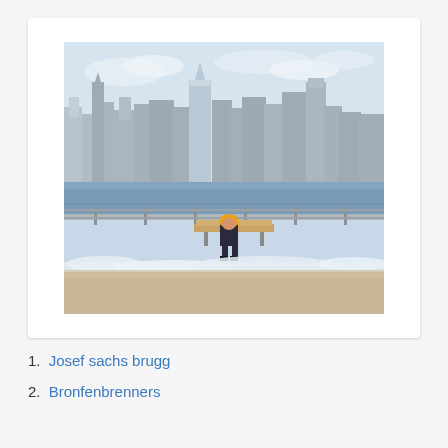[Figure (photo): A person in a yellow hat sitting on a bench by a waterfront promenade with the New York City skyline in the background. Snow or foam is visible on the ground. The photo is displayed in a white card with rounded corners.]
1. Josef sachs brugg
2. Bronfenbrenners